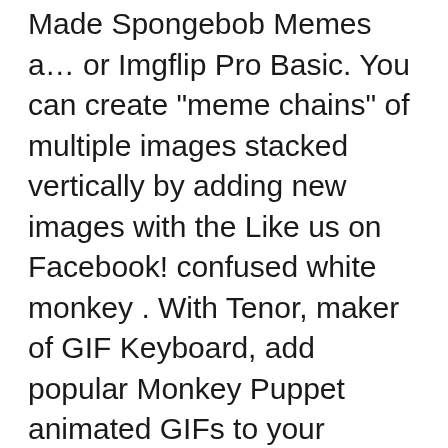Made Spongebob Memes a… or Imgflip Pro Basic. You can create "meme chains" of multiple images stacked vertically by adding new images with the Like us on Facebook! confused white monkey . With Tenor, maker of GIF Keyboard, add popular Monkey Puppet animated GIFs to your conversations. "confused white monkey" Memes & GIFs. Persian Room Cat Guardian is a reaction image macro series and photoshop meme featuring photographs of a stuffed toy cat seated on top of a box with arms outstretched. Here you go: "below current image" setting. Check out, Access to the biggest meme template database on the interwebz, Ability to remove "imgflip.com" watermark from memes